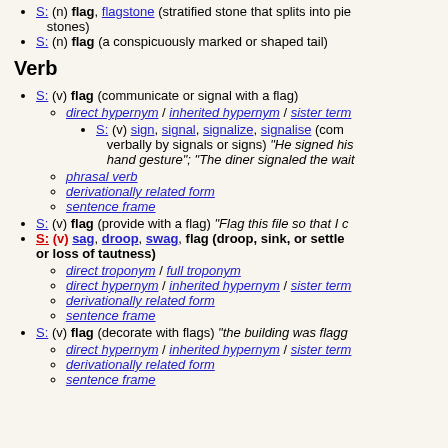S: (n) flag, flagstone (stratified stone that splits into pieces suitable for paving; flagging stones)
S: (n) flag (a conspicuously marked or shaped tail)
Verb
S: (v) flag (communicate or signal with a flag)
direct hypernym / inherited hypernym / sister term
S: (v) sign, signal, signalize, signalise (communicate verbally by signals or signs) "He signed his disapproval with a hand gesture"; "The diner signaled the waiter"
phrasal verb
derivationally related form
sentence frame
S: (v) flag (provide with a flag) "Flag this file so that I can ..."
S: (v) sag, droop, swag, flag (droop, sink, or settle from or as if from pressure or loss of tautness)
direct troponym / full troponym
direct hypernym / inherited hypernym / sister term
derivationally related form
sentence frame
S: (v) flag (decorate with flags) "the building was flagged for the holiday"
direct hypernym / inherited hypernym / sister term
derivationally related form
sentence frame